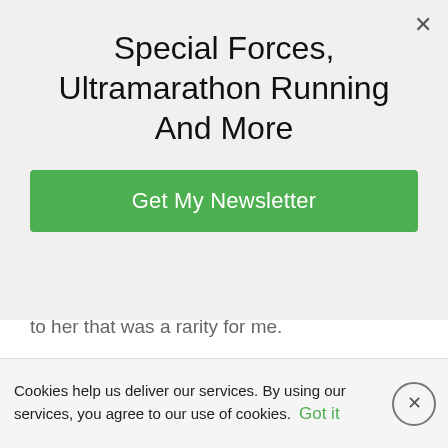Special Forces, Ultramarathon Running And More
Get My Newsletter
to her that was a rarity for me.
I was 26 years old and was in danger of blowing up yet another romantic relationship in my life.
And I was tired of it. So so tired of it.
And this woman, this human being – was someone I didn't want to lose.
Cookies help us deliver our services. By using our services, you agree to our use of cookies. Got it